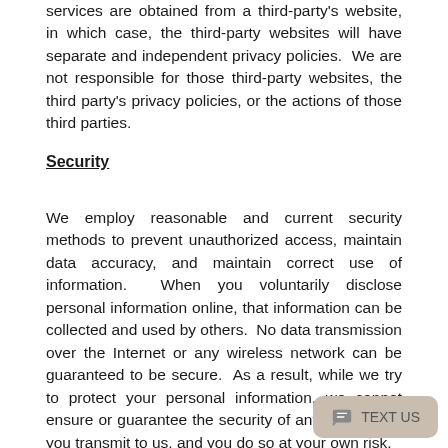services are obtained from a third-party's website, in which case, the third-party websites will have separate and independent privacy policies. We are not responsible for those third-party websites, the third party's privacy policies, or the actions of those third parties.
Security
We employ reasonable and current security methods to prevent unauthorized access, maintain data accuracy, and maintain correct use of information. When you voluntarily disclose personal information online, that information can be collected and used by others. No data transmission over the Internet or any wireless network can be guaranteed to be secure. As a result, while we try to protect your personal information, we cannot ensure or guarantee the security of any information you transmit to us, and you do so at your own risk.
We limit access to personal information to those who we believe reasonably need to have that information to provide rentals, goods, or services or to